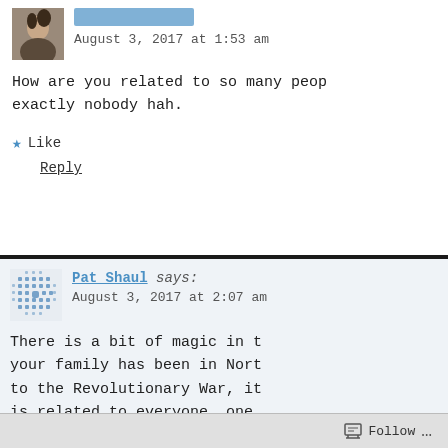[Figure (photo): Small avatar photo of a person (appears to be a woman)]
August 3, 2017 at 1:53 am
How are you related to so many people? exactly nobody hah.
Like
Reply
[Figure (illustration): Blue dot grid pattern avatar / gravatar placeholder icon]
Pat Shaul says:
August 3, 2017 at 2:07 am
There is a bit of magic in t your family has been in Nort to the Revolutionary War, it is related to everyone, one is also a lot of “We’re Rela / children in pedigrees wher
Follow ...